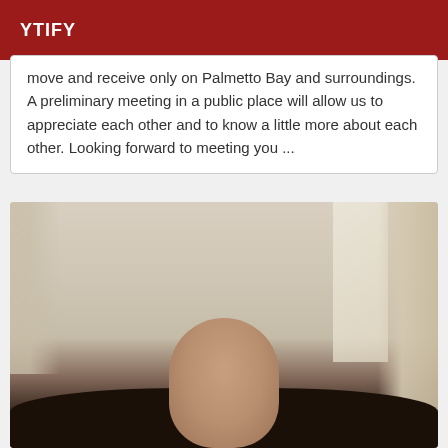YTIFY
move and receive only on Palmetto Bay and surroundings. A preliminary meeting in a public place will allow us to appreciate each other and to know a little more about each other. Looking forward to meeting you ...
[Figure (photo): Photo of a bald man in a room with curtains and a window in the background]